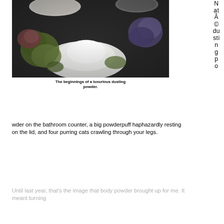[Figure (photo): Overhead photo of various dried herbs, flowers, and a pile of white powder (dusting powder ingredients) arranged on a dark surface, with two small bowls in the background containing colorful dried botanicals.]
The beginnings of a luxurious dusting powder.
NatÃ©dusting po
wder on the bathroom counter, a big powderpuff haphazardly resting on the lid, and four purring cats crawling through your legs.
Until last year, that's the image that body powder brought up for me. It meant turning